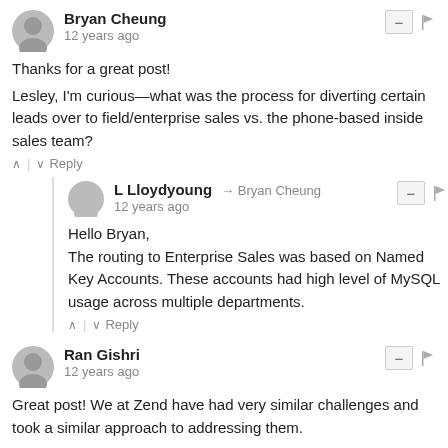Bryan Cheung
12 years ago
Thanks for a great post!
Lesley, I'm curious—what was the process for diverting certain leads over to field/enterprise sales vs. the phone-based inside sales team?
Reply
L Lloydyoung → Bryan Cheung
12 years ago
Hello Bryan,
The routing to Enterprise Sales was based on Named Key Accounts. These accounts had high level of MySQL usage across multiple departments.
Reply
Ran Gishri
12 years ago
Great post! We at Zend have had very similar challenges and took a similar approach to addressing them.